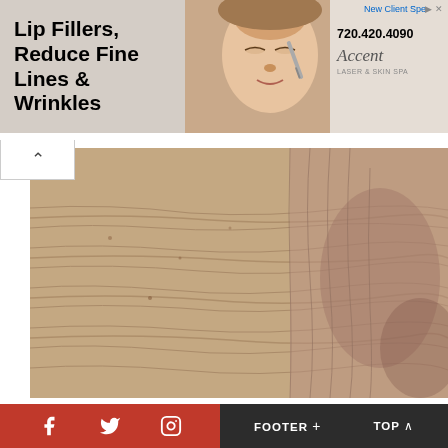[Figure (infographic): Advertisement banner for 'Lip Fillers, Reduce Fine Lines & Wrinkles' with a photo of a woman's face and 'Accent' brand logo, phone number 720.420.4090, New Client Special offer]
[Figure (photo): Close-up macro photo of aged skin showing fine lines, wrinkles and pores]
COMMENTS
Leave a Reply
Your email address will not be published. Required fields are marked *
FOOTER + TOP ^